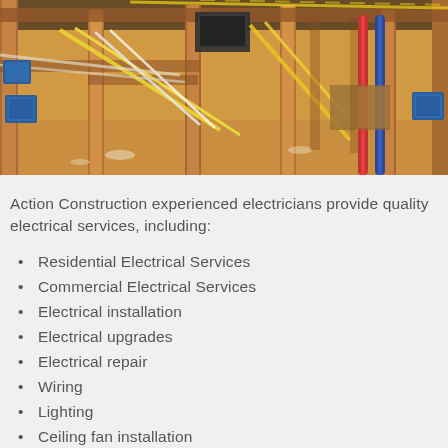[Figure (photo): Construction site interior showing wooden framing, electrical wiring (yellow, white cables), blue electrical boxes, and red/blue plumbing pipes]
Action Construction experienced electricians provide quality electrical services, including:
Residential Electrical Services
Commercial Electrical Services
Electrical installation
Electrical upgrades
Electrical repair
Wiring
Lighting
Ceiling fan installation
Attic fan installation
Whole house re-wiring